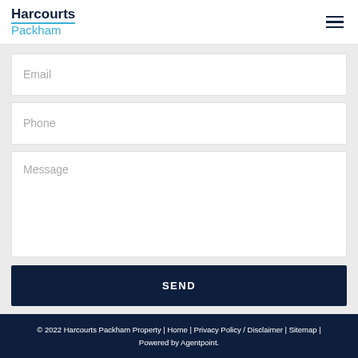Harcourts Packham
Email
Phone
Message
SEND
© 2022 Harcourts Packham Property | Home | Privacy Policy / Disclaimer | Sitemap | Powered by Agentpoint.